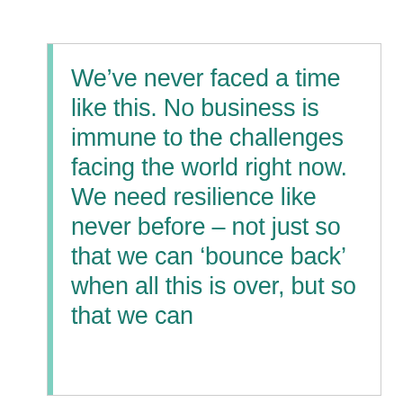We've never faced a time like this. No business is immune to the challenges facing the world right now. We need resilience like never before – not just so that we can 'bounce back' when all this is over, but so that we can